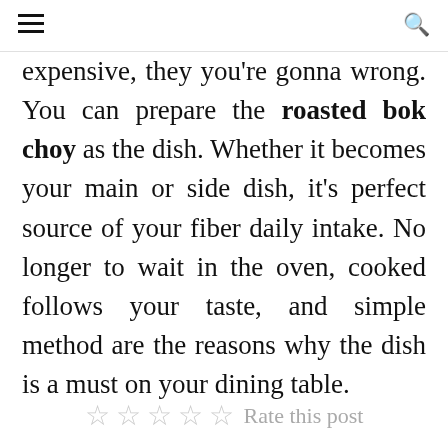≡  🔍
expensive, they you're gonna wrong. You can prepare the roasted bok choy as the dish. Whether it becomes your main or side dish, it's perfect source of your fiber daily intake. No longer to wait in the oven, cooked follows your taste, and simple method are the reasons why the dish is a must on your dining table.
☆ ☆ ☆ ☆ ☆  Rate this post